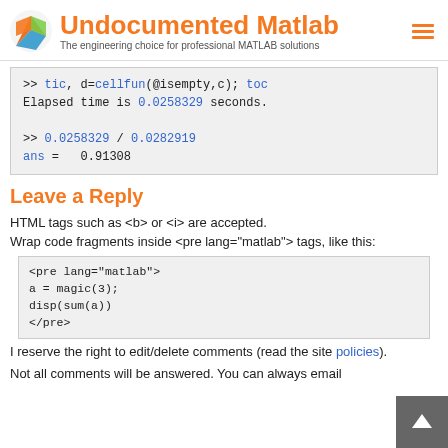Undocumented Matlab — The engineering choice for professional MATLAB solutions
>> tic, d=cellfun(@isempty,c); toc
Elapsed time is 0.0258329 seconds.

>> 0.0258329 / 0.0282919
ans =   0.91308
Leave a Reply
HTML tags such as <b> or <i> are accepted.
Wrap code fragments inside <pre lang="matlab"> tags, like this:
<pre lang="matlab">
a = magic(3);
disp(sum(a))
</pre>
I reserve the right to edit/delete comments (read the site policies).
Not all comments will be answered. You can always email